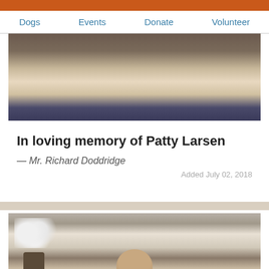Dogs  Events  Donate  Volunteer
[Figure (photo): Photo of a person wearing a white cable-knit sweater and jeans, with a decorative figurine visible on the left and a dark fireplace in the background]
In loving memory of Patty Larsen
— Mr. Richard Doddridge
Added July 02, 2018
[Figure (photo): Photo of a person with light hair in front of a mantelpiece with white orchid flowers, a clock, and framed pictures]